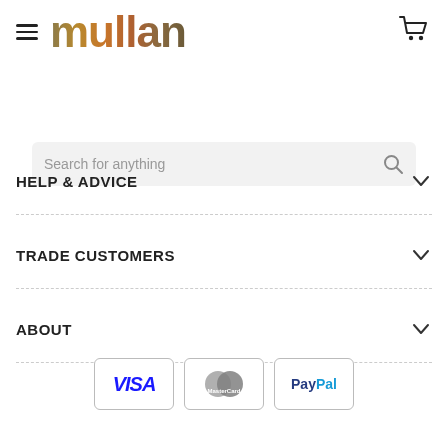[Figure (logo): Mullan logo with gradient text (gold/brown tones) and hamburger menu icon on left, shopping cart icon on right]
Search for anything
HELP & ADVICE
TRADE CUSTOMERS
ABOUT
[Figure (infographic): Three payment method icons: VISA, MasterCard, PayPal]